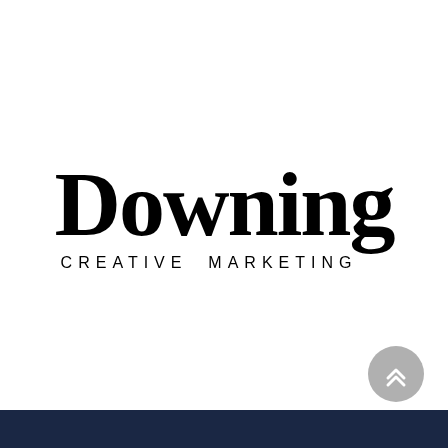[Figure (logo): Downing Creative Marketing logo — large serif 'Downing' wordmark above 'CREATIVE MARKETING' in spaced uppercase sans-serif]